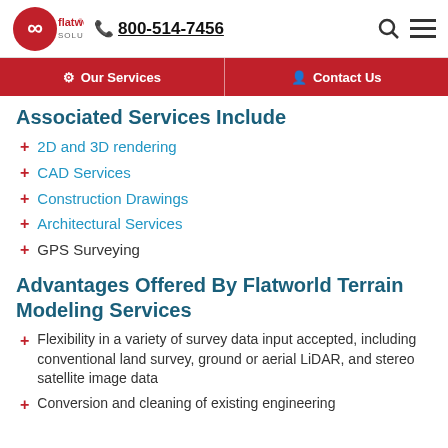flatworld solutions | 800-514-7456
Our Services | Contact Us
Associated Services Include
2D and 3D rendering
CAD Services
Construction Drawings
Architectural Services
GPS Surveying
Advantages Offered By Flatworld Terrain Modeling Services
Flexibility in a variety of survey data input accepted, including conventional land survey, ground or aerial LiDAR, and stereo satellite image data
Conversion and cleaning of existing engineering